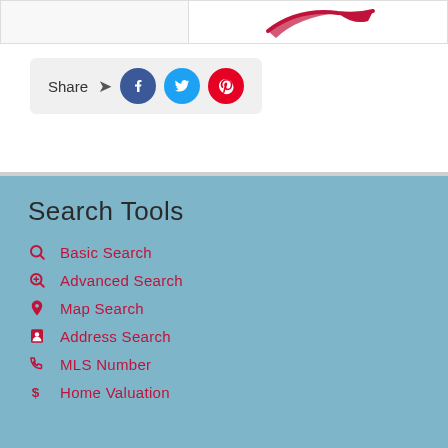[Figure (screenshot): Banner strip with logo/image on right side showing red swoosh/logo element]
[Figure (infographic): Share bar with arrow icon and three social media circles: Facebook (blue), Twitter (light blue), Pinterest (red)]
Search Tools
Basic Search
Advanced Search
Map Search
Address Search
MLS Number
Home Valuation